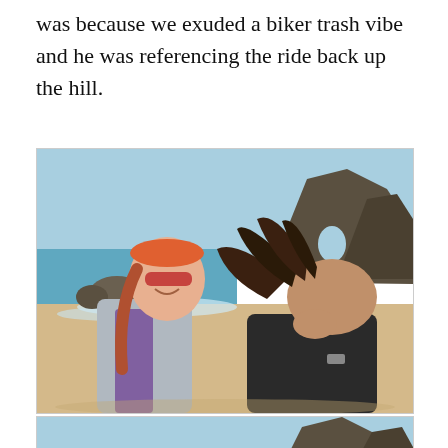was because we exuded a biker trash vibe and he was referencing the ride back up the hill.
[Figure (photo): Two women standing on a beach with rocky sea stacks in the background. The left woman is smiling, wearing sunglasses, an orange headband, and a gray long-sleeve shirt with a purple vest. The right woman has her long dark hair blowing across her face in the wind and is wearing a black top. The ocean and sandy beach are visible behind them.]
[Figure (photo): Partial view of the same beach scene showing a blue sky and rocky sea stack formations in the background, cropped at the bottom of the page.]